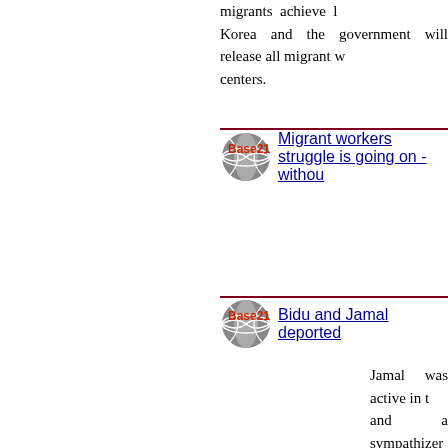migrants achieve l Korea and the government will release all migrant w centers.
[Figure (logo): Base21 globe logo with red text 'Base21']
Migrant workers struggle is going on - withou
Short before the enc 100 migrants and so participated, about 50 backed by at least 1 the MSSC members them.
[Figure (logo): Base21 globe logo with red text 'Base21']
Bidu and Jamal deported
Jamal was active in t and a sympathizer of and Jamal participa demonstration in Oct KCTU to protest a against union.s activi